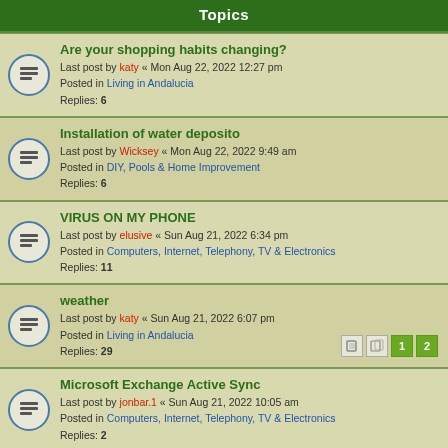Topics
Are your shopping habits changing?
Last post by katy « Mon Aug 22, 2022 12:27 pm
Posted in Living in Andalucia
Replies: 6
Installation of water deposito
Last post by Wicksey « Mon Aug 22, 2022 9:49 am
Posted in DIY, Pools & Home Improvement
Replies: 6
VIRUS ON MY PHONE
Last post by elusive « Sun Aug 21, 2022 6:34 pm
Posted in Computers, Internet, Telephony, TV & Electronics
Replies: 11
weather
Last post by katy « Sun Aug 21, 2022 6:07 pm
Posted in Living in Andalucia
Replies: 29
Microsoft Exchange Active Sync
Last post by jonbar.1 « Sun Aug 21, 2022 10:05 am
Posted in Computers, Internet, Telephony, TV & Electronics
Replies: 2
Apple Repair
Last post by costakid « Sun Aug 21, 2022 9:07 am